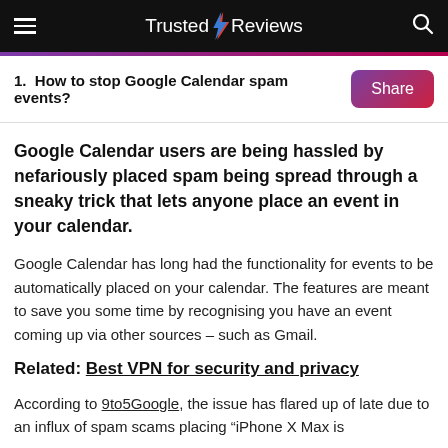Trusted Reviews
1. How to stop Google Calendar spam events?
Google Calendar users are being hassled by nefariously placed spam being spread through a sneaky trick that lets anyone place an event in your calendar.
Google Calendar has long had the functionality for events to be automatically placed on your calendar. The features are meant to save you some time by recognising you have an event coming up via other sources – such as Gmail.
Related: Best VPN for security and privacy
According to 9to5Google, the issue has flared up of late due to an influx of spam scams placing "iPhone X Max is here" as an event in your calendar.